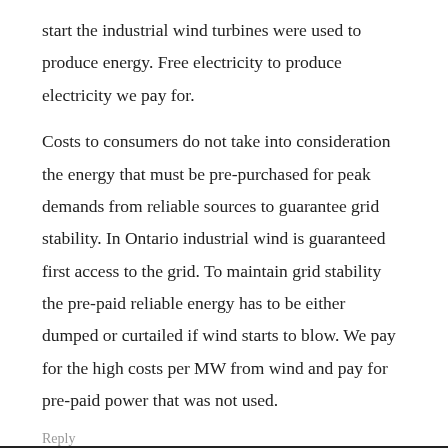start the industrial wind turbines were used to produce energy. Free electricity to produce electricity we pay for.
Costs to consumers do not take into consideration the energy that must be pre-purchased for peak demands from reliable sources to guarantee grid stability. In Ontario industrial wind is guaranteed first access to the grid. To maintain grid stability the pre-paid reliable energy has to be either dumped or curtailed if wind starts to blow. We pay for the high costs per MW from wind and pay for pre-paid power that was not used.
Reply